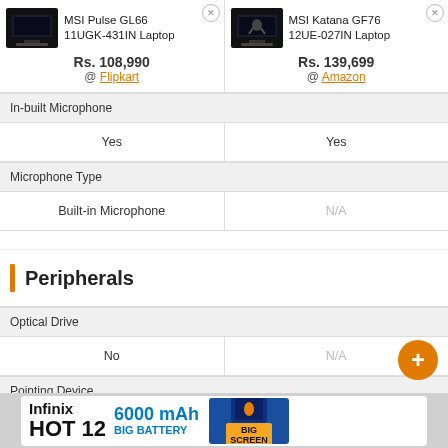| MSI Pulse GL66 11UGK-431IN Laptop | MSI Katana GF76 12UE-027IN Laptop |
| --- | --- |
| Rs. 108,990 @ Flipkart | Rs. 139,699 @ Amazon |
| In-built Microphone |  |
| Yes | Yes |
| Microphone Type |  |
| Built-in Microphone | N/A |
| Optical Drive |  |
| No | N/A |
| Pointing Device |  |
Peripherals
[Figure (infographic): Infinix HOT 12 advertisement banner: 6000 mAh Big Battery, Big Screen]